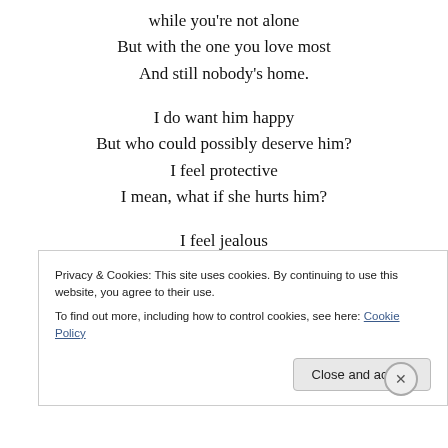while you're not alone
But with the one you love most
And still nobody's home.

I do want him happy
But who could possibly deserve him?
I feel protective
I mean, what if she hurts him?

I feel jealous
I want his love for me only
Privacy & Cookies: This site uses cookies. By continuing to use this website, you agree to their use.
To find out more, including how to control cookies, see here: Cookie Policy
Close and accept